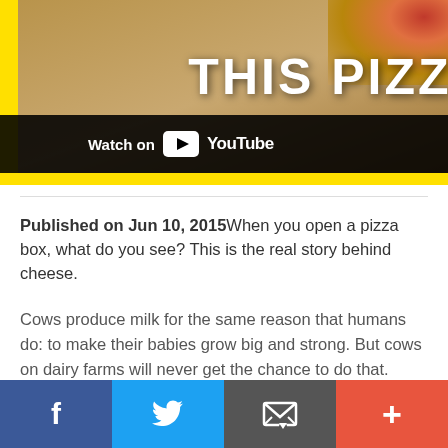[Figure (screenshot): YouTube video thumbnail showing 'THIS PIZZA B' text overlay on a pizza box background with yellow accents. A 'Watch on YouTube' overlay is visible in the lower-left of the thumbnail.]
Published on Jun 10, 2015When you open a pizza box, what do you see? This is the real story behind cheese.
Cows produce milk for the same reason that humans do: to make their babies grow big and strong. But cows on dairy farms will never get the chance to do that. Instead, calves are generally taken away from their mothers within